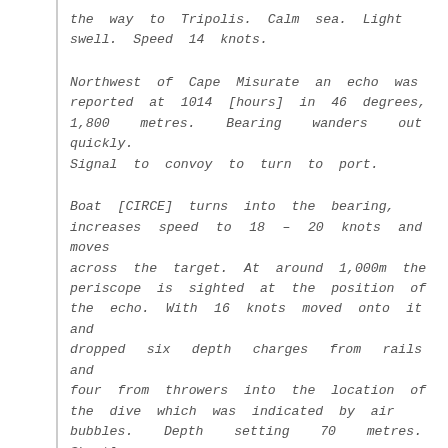the way to Tripolis. Calm sea. Light swell. Speed 14 knots.
Northwest of Cape Misurate an echo was reported at 1014 [hours] in 46 degrees, 1,800 metres. Bearing wanders out quickly. Signal to convoy to turn to port.
Boat [CIRCE] turns into the bearing, increases speed to 18 – 20 knots and moves across the target. At around 1,000m the periscope is sighted at the position of the echo. With 16 knots moved onto it and dropped six depth charges from rails and four from throwers into the location of the dive which was indicated by air bubbles. Depth setting 70 metres. Shortly after the submarine surfaces with heavy